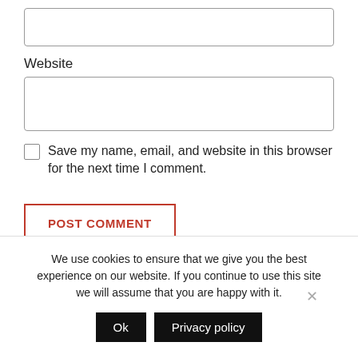[Figure (other): Empty text input box at top of page]
Website
[Figure (other): Empty website text input box]
Save my name, email, and website in this browser for the next time I comment.
POST COMMENT
RELATED POSTS
We use cookies to ensure that we give you the best experience on our website. If you continue to use this site we will assume that you are happy with it.
Ok
Privacy policy